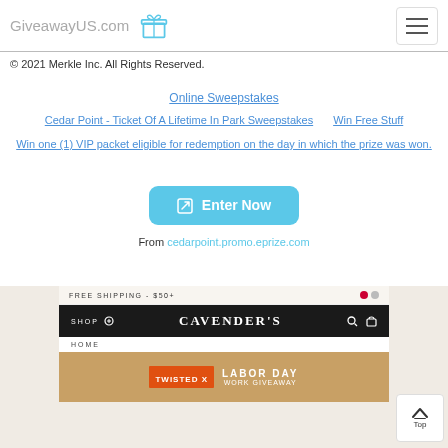GiveawayUS.com
© 2021 Merkle Inc. All Rights Reserved.
Online Sweepstakes
Cedar Point - Ticket Of A Lifetime In Park Sweepstakes   Win Free Stuff
Win one (1) VIP packet eligible for redemption on the day in which the prize was won.
Enter Now
From cedarpoint.promo.eprize.com
[Figure (screenshot): Cavender's website advertisement showing FREE SHIPPING - $50+ banner, dark navigation bar with SHOP and search/cart icons, Cavender's logo, HOME breadcrumb, and a Twisted X Work Labor Day Work Giveaway banner image]